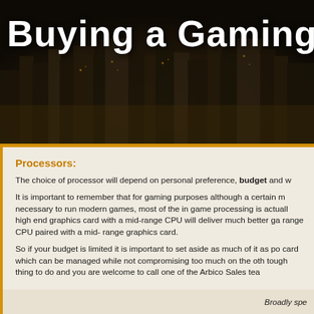[Figure (photo): Dark nighttime cityscape background with bokeh lights, used as hero banner behind the title text 'Buying a Gaming PC']
Buying a Gaming PC
Processors:
The choice of processor will depend on personal preference, budget and w...
It is important to remember that for gaming purposes although a certain m... necessary to run modern games, most of the in game processing is actuall... high end graphics card with a mid-range CPU will deliver much better ga... range CPU paired with a mid- range graphics card.
So if your budget is limited it is important to set aside as much of it as pos... card which can be managed while not compromising too much on the oth... tough thing to do and you are welcome to call one of the Arbico Sales tea...
Broadly spe...